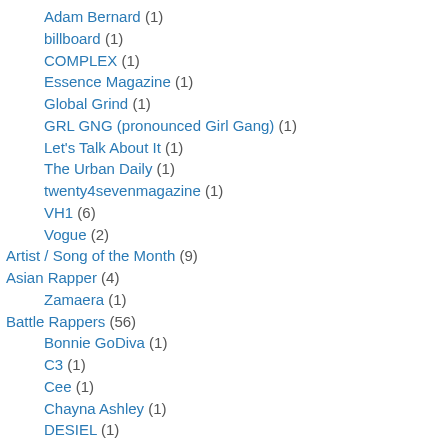Adam Bernard (1)
billboard (1)
COMPLEX (1)
Essence Magazine (1)
Global Grind (1)
GRL GNG (pronounced Girl Gang) (1)
Let's Talk About It (1)
The Urban Daily (1)
twenty4sevenmagazine (1)
VH1 (6)
Vogue (2)
Artist / Song of the Month (9)
Asian Rapper (4)
Zamaera (1)
Battle Rappers (56)
Bonnie GoDiva (1)
C3 (1)
Cee (1)
Chayna Ashley (1)
DESIEL (1)